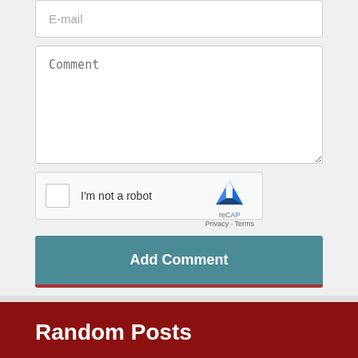[Figure (screenshot): E-mail input field placeholder]
[Figure (screenshot): Comment textarea placeholder]
[Figure (screenshot): reCAPTCHA widget with checkbox and 'I'm not a robot' label]
Add Comment
Random Posts
Useful Machine mod v1.3.6 for MCPE (IC)
Terraria PE Mod v2.7.0.2 for Minecraft Bedrock 1.16/1.17.41+